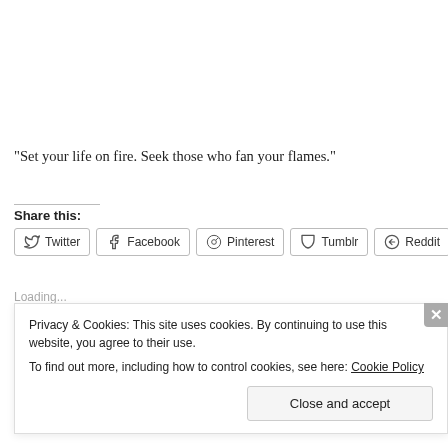“Set your life on fire. Seek those who fan your flames.”
Share this:
Twitter Facebook Pinterest Tumblr Reddit
Loading...
Privacy & Cookies: This site uses cookies. By continuing to use this website, you agree to their use.
To find out more, including how to control cookies, see here: Cookie Policy
Close and accept